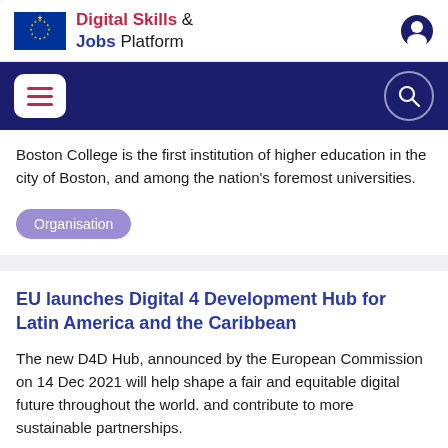Digital Skills & Jobs Platform
Boston College is the first institution of higher education in the city of Boston, and among the nation's foremost universities.
Organisation
EU launches Digital 4 Development Hub for Latin America and the Caribbean
The new D4D Hub, announced by the European Commission on 14 Dec 2021 will help shape a fair and equitable digital future throughout the world. and contribute to more sustainable partnerships.